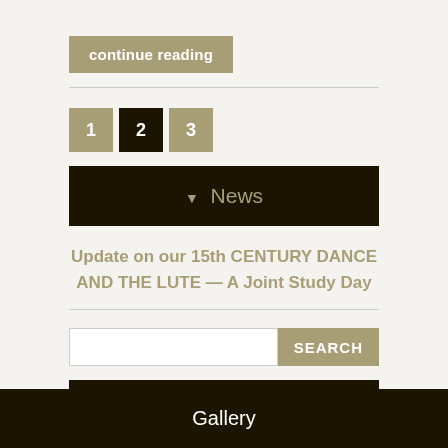continue reading
1
2
3
▼ News
Update on our 15th CENTURY DANCE AND THE LUTE — A Joint Study Day
SEARCH
Featured Events
Gallery